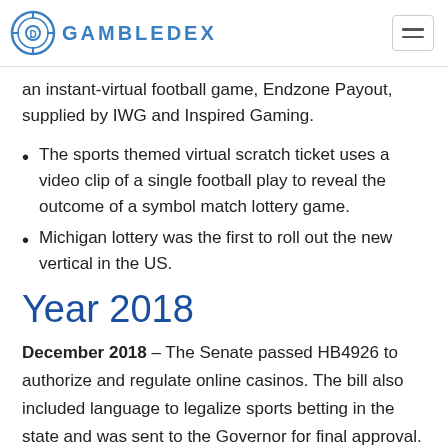GAMBLEDEX
an instant-virtual football game, Endzone Payout, supplied by IWG and Inspired Gaming.
The sports themed virtual scratch ticket uses a video clip of a single football play to reveal the outcome of a symbol match lottery game.
Michigan lottery was the first to roll out the new vertical in the US.
Year 2018
December 2018 – The Senate passed HB4926 to authorize and regulate online casinos. The bill also included language to legalize sports betting in the state and was sent to the Governor for final approval.